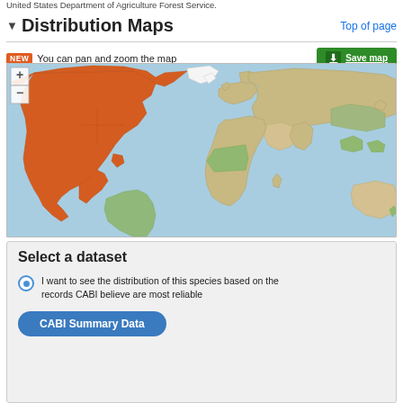United States Department of Agriculture Forest Service.
▼Distribution Maps
Top of page
NEW You can pan and zoom the map
Save map
[Figure (map): World distribution map showing species distribution highlighted in orange/red primarily over North America (USA and Canada). Other continents shown in natural terrain colors with country borders. Map includes zoom +/- controls in upper left.]
Select a dataset
I want to see the distribution of this species based on the records CABI believe are most reliable
CABI Summary Data